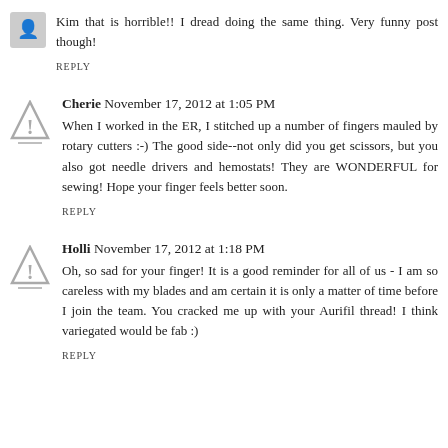Kim that is horrible!! I dread doing the same thing. Very funny post though!
REPLY
Cherie  November 17, 2012 at 1:05 PM
When I worked in the ER, I stitched up a number of fingers mauled by rotary cutters :-) The good side--not only did you get scissors, but you also got needle drivers and hemostats! They are WONDERFUL for sewing! Hope your finger feels better soon.
REPLY
Holli  November 17, 2012 at 1:18 PM
Oh, so sad for your finger! It is a good reminder for all of us - I am so careless with my blades and am certain it is only a matter of time before I join the team. You cracked me up with your Aurifil thread! I think variegated would be fab :)
REPLY